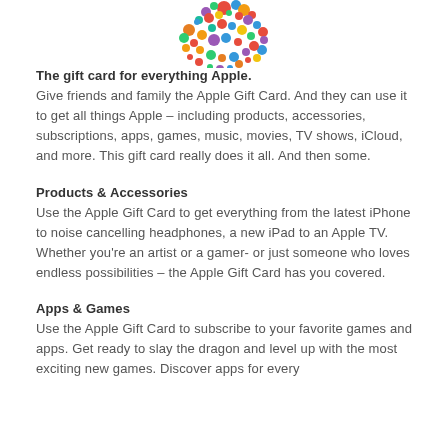[Figure (logo): Apple Gift Card logo made of colorful circles arranged in the shape of an apple]
The gift card for everything Apple.
Give friends and family the Apple Gift Card. And they can use it to get all things Apple – including products, accessories, subscriptions, apps, games, music, movies, TV shows, iCloud, and more. This gift card really does it all. And then some.
Products & Accessories
Use the Apple Gift Card to get everything from the latest iPhone to noise cancelling headphones, a new iPad to an Apple TV. Whether you're an artist or a gamer- or just someone who loves endless possibilities – the Apple Gift Card has you covered.
Apps & Games
Use the Apple Gift Card to subscribe to your favorite games and apps. Get ready to slay the dragon and level up with the most exciting new games. Discover apps for every